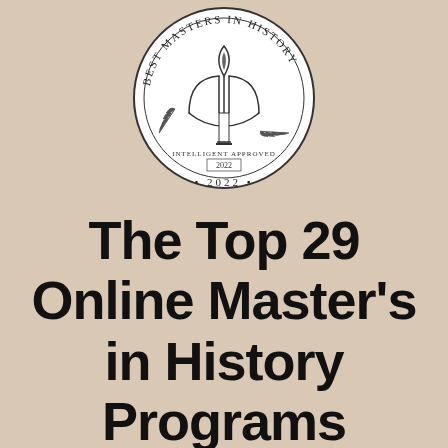[Figure (logo): Circular badge/seal with text 'BEST MASTERS IN HISTORY' around the top arc, an open book with a torch/flame in the center, 'INTELLIGENT APPROVED' in smaller text, '2022' inside the seal, and '• 2022 •' at the bottom of the circle. Black and white line art style on light background.]
The Top 29 Online Master's in History Programs